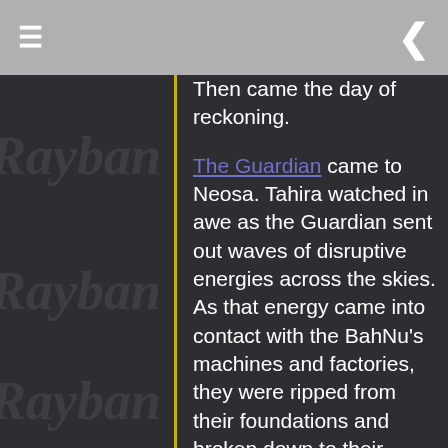≡  ❮
Then came the day of reckoning.
The Guardian came to Neosa. Tahira watched in awe as the Guardian sent out waves of disruptive energies across the skies. As that energy came into contact with the BahNu's machines and factories, they were ripped from their foundations and broken down to their individual atoms. All over the planet, the instruments that had been sucking the planet dry